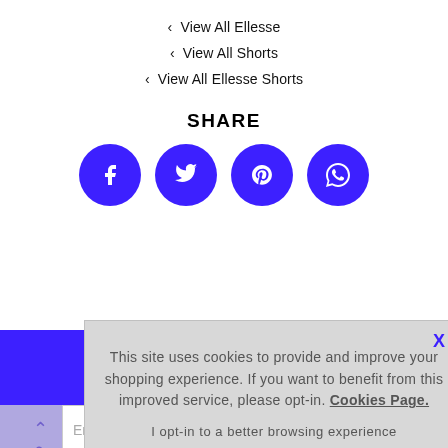‹ View All Ellesse
‹ View All Shorts
‹ View All Ellesse Shorts
SHARE
[Figure (infographic): Four purple circular social media icon buttons: Facebook, Twitter, Pinterest, WhatsApp]
This site uses cookies to provide and improve your shopping experience. If you want to benefit from this improved service, please opt-in. Cookies Page.
I opt-in to a better browsing experience
ACCEPT COOKIES
Email address
To see h